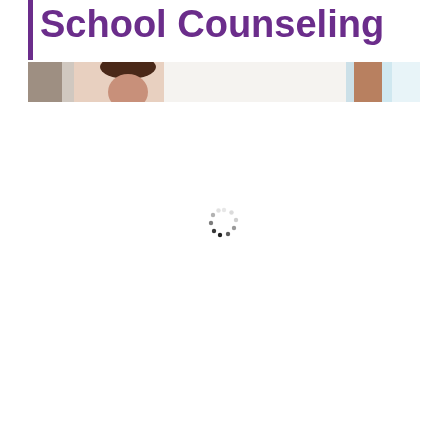School Counseling
[Figure (photo): Partial photo strip showing a woman's face and classroom/office background, partially loaded]
[Figure (other): Loading spinner indicator in the center of the page]